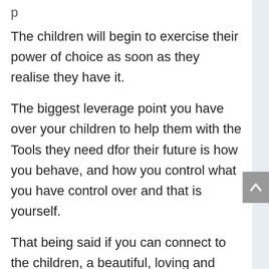The children will begin to exercise their power of choice as soon as they realise they have it.
The biggest leverage point you have over your children to help them with the Tools they need dfor their future is how you behave, and how you control what you have control over and that is yourself.
That being said if you can connect to the children, a beautiful, loving and supporting connection, you will find that your influence over them is lovingly accepted.
If